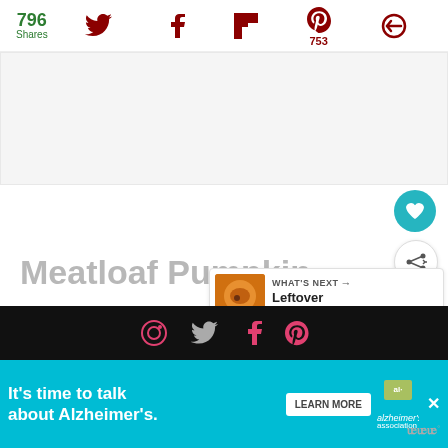796 Shares
[Figure (infographic): Social media share icons: Twitter, Facebook, Flipboard, Pinterest (753), and another icon in dark red/maroon color]
[Figure (photo): Light gray placeholder/ad box area]
Meatloaf Pumpkin
[Figure (infographic): Floating action buttons: heart (teal), share, and dots on the right side. What's Next panel showing 'Leftover Panettone...' with a thumbnail image.]
[Figure (screenshot): Dark strip with social icons at bottom]
[Figure (infographic): Advertisement banner: It's time to talk about Alzheimer's. Learn More button. Alzheimer's Association logo. Close button (X) at top right.]